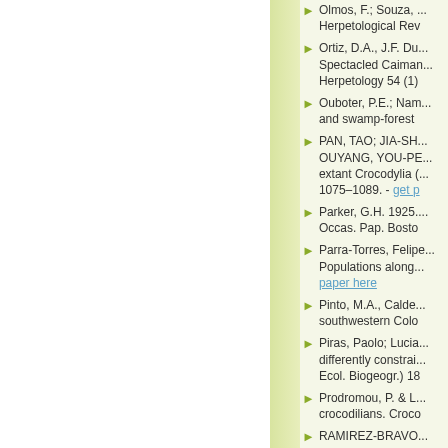Olmos, F.; Souza, ... Herpetological Rev
Ortiz, D.A., J.F. Du... Spectacled Caiman... Herpetology 54 (1)
Ouboter, P.E.; Nam... and swamp-forest
PAN, TAO; JIA-SH... OUYANG, YOU-PE... extant Crocodylia (... 1075–1089. - get p
Parker, G.H. 1925.... Occas. Pap. Bosto
Parra-Torres, Felipe... Populations along... paper here
Pinto, M.A., Calde... southwestern Colo
Piras, Paolo; Lucia... differently constrai... Ecol. Biogeogr.) 18
Prodromou, P. & L... crocodilians. Croco
RAMIREZ-BRAVO... Secondary Tail Re
Reynolds, Robert P...